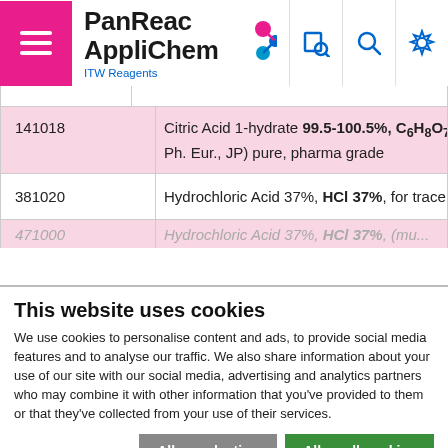[Figure (logo): PanReac AppliChem ITW Reagents logo with pink molecule icon]
| ID | Description |
| --- | --- |
| 141018 | Citric Acid 1-hydrate 99.5-100.5%, C6H8O7· Ph. Eur., JP) pure, pharma grade |
| 381020 | Hydrochloric Acid 37%, HCl 37%, for trace m |
| 471000 | Hydrochloric Acid 37%, HCl 37%, (mu... |
This website uses cookies
We use cookies to personalise content and ads, to provide social media features and to analyse our traffic. We also share information about your use of our site with our social media, advertising and analytics partners who may combine it with other information that you've provided to them or that they've collected from your use of their services.
Allow selection | Allow all cookies
Necessary  Preferences  Statistics  Marketing  Show details